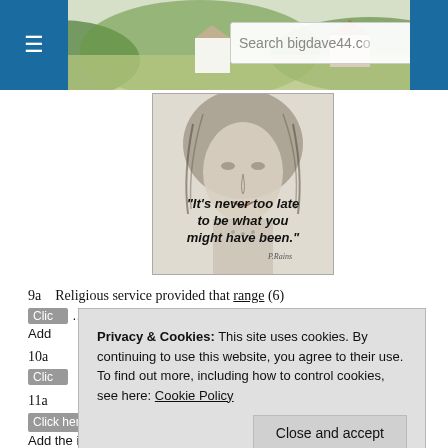Search bigdave44.co
[Figure (illustration): Pencil sketch portrait of a woman with text overlay: "It's never too late to be what you might have been." Signed P.Rains]
9a   Religious service provided that range (6)
Click here!: ... lays. Add
10a
Click
11a
Click here!: Begin with an anagram (confused) of STORY PUT. Add the initial (initially) letters of the words Vexing You from the clue
[Figure (other): Cookie consent banner overlay: Privacy & Cookies notice with Close and accept button]